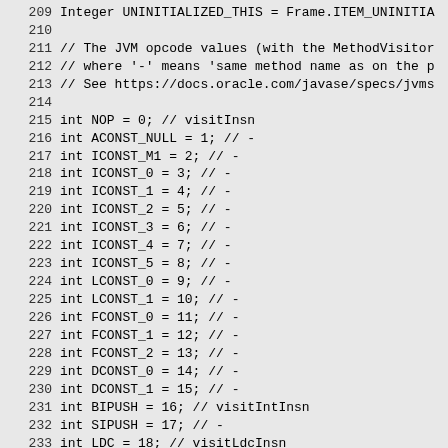209    Integer UNINITIALIZED_THIS = Frame.ITEM_UNINITIA
210
211    // The JVM opcode values (with the MethodVisitor
212    // where '-' means 'same method name as on the p
213    // See https://docs.oracle.com/javase/specs/jvms
214
215    int NOP = 0; // visitInsn
216    int ACONST_NULL = 1; // -
217    int ICONST_M1 = 2; // -
218    int ICONST_0 = 3; // -
219    int ICONST_1 = 4; // -
220    int ICONST_2 = 5; // -
221    int ICONST_3 = 6; // -
222    int ICONST_4 = 7; // -
223    int ICONST_5 = 8; // -
224    int LCONST_0 = 9; // -
225    int LCONST_1 = 10; // -
226    int FCONST_0 = 11; // -
227    int FCONST_1 = 12; // -
228    int FCONST_2 = 13; // -
229    int DCONST_0 = 14; // -
230    int DCONST_1 = 15; // -
231    int BIPUSH = 16; // visitIntInsn
232    int SIPUSH = 17; // -
233    int LDC = 18; // visitLdcInsn
234    int ILOAD = 21; // visitVarInsn
235    int LLOAD = 22; // -
236    int FLOAD = 23; // -
237    int DLOAD = 24; // -
238    int ALOAD = 25; // -